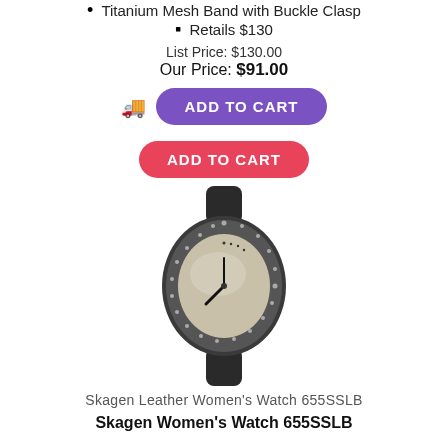Titanium Mesh Band with Buckle Clasp
Retails $130
List Price: $130.00
Our Price: $91.00
[Figure (screenshot): ADD TO CART button (purple) with truck icon, and a separate ADD TO CART button (red/pink)]
[Figure (photo): Skagen Leather Women's Watch 655SSLB - a dark colored oval watch with leather strap and crystal-studded bezel]
Skagen Leather Women's Watch 655SSLB
Skagen Women's Watch 655SSLB